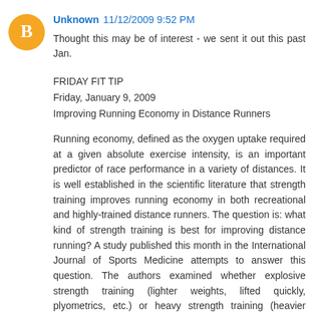Unknown 11/12/2009 9:52 PM
Thought this may be of interest - we sent it out this past Jan.
FRIDAY FIT TIP
Friday, January 9, 2009
Improving Running Economy in Distance Runners
Running economy, defined as the oxygen uptake required at a given absolute exercise intensity, is an important predictor of race performance in a variety of distances. It is well established in the scientific literature that strength training improves running economy in both recreational and highly-trained distance runners. The question is: what kind of strength training is best for improving distance running? A study published this month in the International Journal of Sports Medicine attempts to answer this question. The authors examined whether explosive strength training (lighter weights, lifted quickly, plyometrics, etc.) or heavy strength training (heavier weight, slower lifting speeds) is more effective in improving running economy. The authors